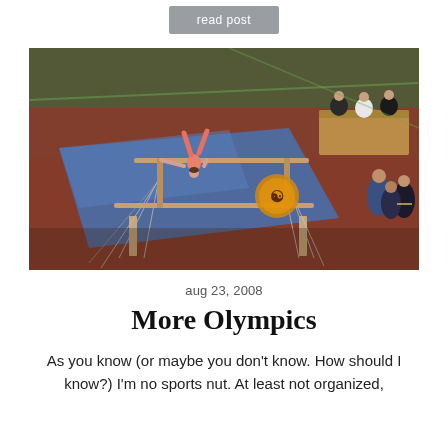read post
[Figure (photo): A gymnast performing on the uneven bars at what appears to be an Olympic gymnastics competition. The gymnast is wearing a pink/coral leotard and is seen on the bars. There are judges and spectators visible in the background, along with blue mats and red/orange flooring.]
aug 23, 2008
More Olympics
As you know (or maybe you don't know. How should I know?) I'm no sports nut. At least not organized,